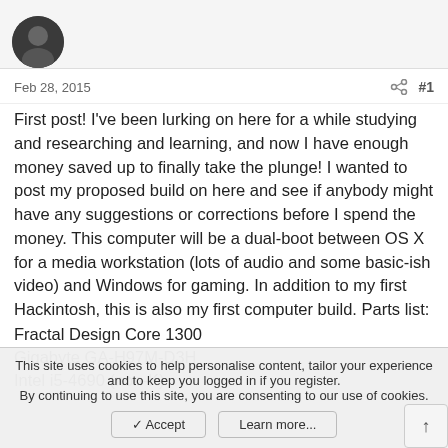[Figure (photo): User avatar - dark circular profile photo]
Feb 28, 2015  #1
First post! I've been lurking on here for a while studying and researching and learning, and now I have enough money saved up to finally take the plunge! I wanted to post my proposed build on here and see if anybody might have any suggestions or corrections before I spend the money. This computer will be a dual-boot between OS X for a media workstation (lots of audio and some basic-ish video) and Windows for gaming. In addition to my first Hackintosh, this is also my first computer build. Parts list:
Fractal Design Core 1300
Gigabyte GA-H97M-D3H
Intel i5-4690 (non-K)
This site uses cookies to help personalise content, tailor your experience and to keep you logged in if you register. By continuing to use this site, you are consenting to our use of cookies.